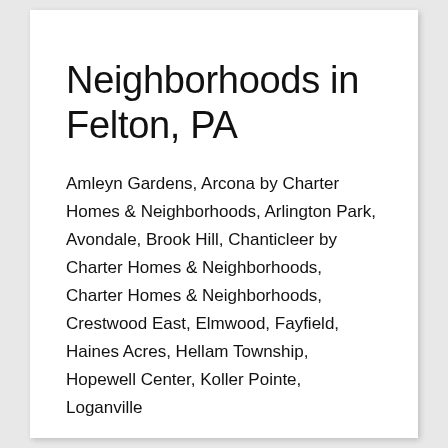Neighborhoods in Felton, PA
Amleyn Gardens, Arcona by Charter Homes & Neighborhoods, Arlington Park, Avondale, Brook Hill, Chanticleer by Charter Homes & Neighborhoods, Charter Homes & Neighborhoods, Crestwood East, Elmwood, Fayfield, Haines Acres, Hellam Township, Hopewell Center, Koller Pointe, Loganville